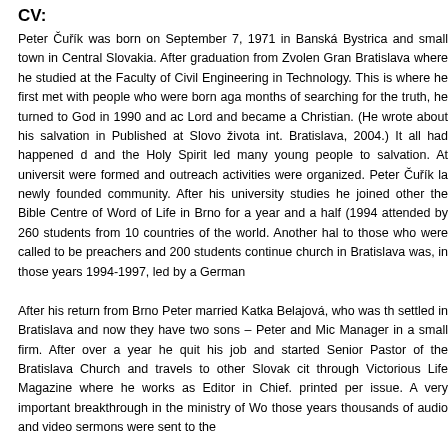CV:
Peter Čuřík was born on September 7, 1971 in Banská Bystrica and small town in Central Slovakia. After graduation from Zvolen Gran Bratislava where he studied at the Faculty of Civil Engineering in Technology. This is where he first met with people who were born aga months of searching for the truth, he turned to God in 1990 and ac Lord and became a Christian. (He wrote about his salvation in Published at Slovo života int. Bratislava, 2004.) It all had happened d and the Holy Spirit led many young people to salvation. At universit were formed and outreach activities were organized. Peter Čuřík la newly founded community. After his university studies he joined other the Bible Centre of Word of Life in Brno for a year and a half (1994 attended by 260 students from 10 countries of the world. Another hal to those who were called to be preachers and 200 students continue church in Bratislava was, in those years 1994-1997, led by a German
After his return from Brno Peter married Katka Belajová, who was th settled in Bratislava and now they have two sons – Peter and Mic Manager in a small firm. After over a year he quit his job and started Senior Pastor of the Bratislava Church and travels to other Slovak cit through Victorious Life Magazine where he works as Editor in Chief. printed per issue. A very important breakthrough in the ministry of Wo those years thousands of audio and video sermons were sent to the